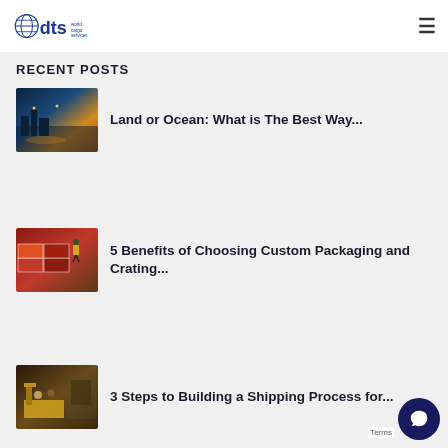DTS World Cargo Services
RECENT POSTS
[Figure (photo): Harbor/port at night with lights]
Land or Ocean: What is The Best Way...
[Figure (photo): Worker standing on cargo shipping containers]
5 Benefits of Choosing Custom Packaging and Crating...
[Figure (photo): Forklift operator in warehouse]
3 Steps to Building a Shipping Process for...